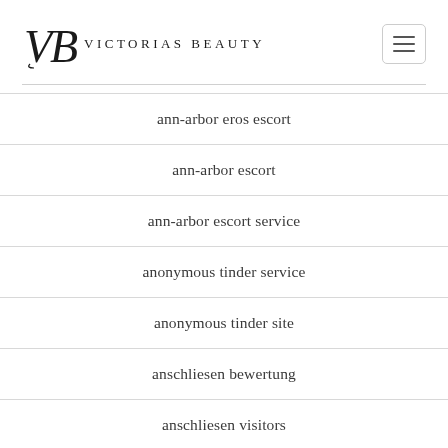Victorias Beauty
ann-arbor eros escort
ann-arbor escort
ann-arbor escort service
anonymous tinder service
anonymous tinder site
anschliesen bewertung
anschliesen visitors
antichat come funziona
antichat gratuit